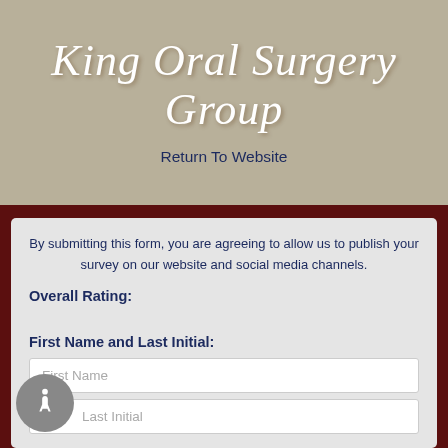King Oral Surgery Group
Return To Website
By submitting this form, you are agreeing to allow us to publish your survey on our website and social media channels.
Overall Rating:
First Name and Last Name Initial:
First Name
Last Initial